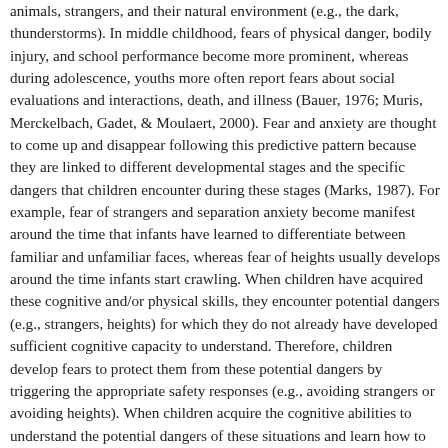animals, strangers, and their natural environment (e.g., the dark, thunderstorms). In middle childhood, fears of physical danger, bodily injury, and school performance become more prominent, whereas during adolescence, youths more often report fears about social evaluations and interactions, death, and illness (Bauer, 1976; Muris, Merckelbach, Gadet, & Moulaert, 2000). Fear and anxiety are thought to come up and disappear following this predictive pattern because they are linked to different developmental stages and the specific dangers that children encounter during these stages (Marks, 1987). For example, fear of strangers and separation anxiety become manifest around the time that infants have learned to differentiate between familiar and unfamiliar faces, whereas fear of heights usually develops around the time infants start crawling. When children have acquired these cognitive and/or physical skills, they encounter potential dangers (e.g., strangers, heights) for which they do not already have developed sufficient cognitive capacity to understand. Therefore, children develop fears to protect them from these potential dangers by triggering the appropriate safety responses (e.g., avoiding strangers or avoiding heights). When children acquire the cognitive abilities to understand the potential dangers of these situations and learn how to deal with them, their fear or anxiety for these stimuli or situations usually abates. Thus, it